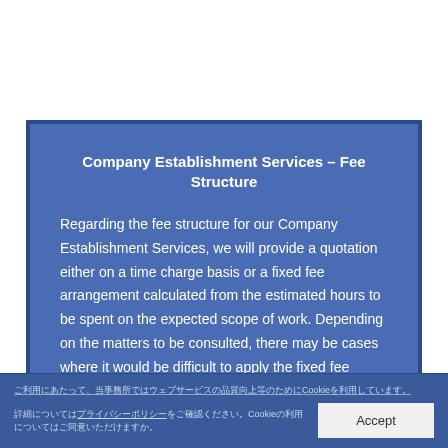Company Establishment Services – Fee Structure
Regarding the fee structure for our Company Establishment Services, we will provide a quotation either on a time charge basis or a fixed fee arrangement calculated from the estimated hours to be spent on the expected scope of work. Depending on the matters to be consulted, there may be cases where it would be difficult to apply the fixed fee arrangement. Nevertheless, Shiodome Partners takes on the mission to provide excellent cost-effective services within the budget of the client. Please
Cookie Accept